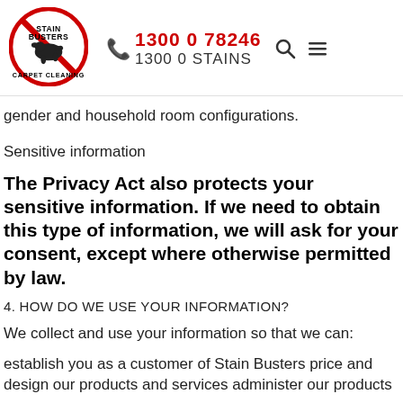[Figure (logo): Stain Busters Carpet Cleaning circular logo with red border and black silhouette of a carpet/dog motif, crossed out with a red line]
1300 0 78246  1300 0 STAINS
gender and household room configurations.
Sensitive information
The Privacy Act also protects your sensitive information. If we need to obtain this type of information, we will ask for your consent, except where otherwise permitted by law.
4. HOW DO WE USE YOUR INFORMATION?
We collect and use your information so that we can:
establish you as a customer of Stain Busters price and design our products and services administer our products